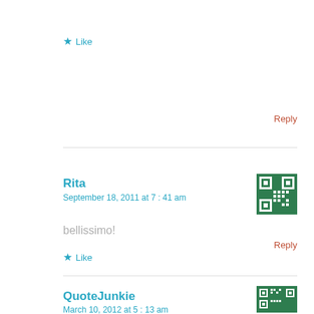★ Like
Reply
Rita
September 18, 2011 at 7:41 am
[Figure (other): Green and white QR-like avatar icon for user Rita]
bellissimo!
★ Like
Reply
QuoteJunkie
March 10, 2012 at 5:13 am
[Figure (other): Green and white QR-like avatar icon for user QuoteJunkie]